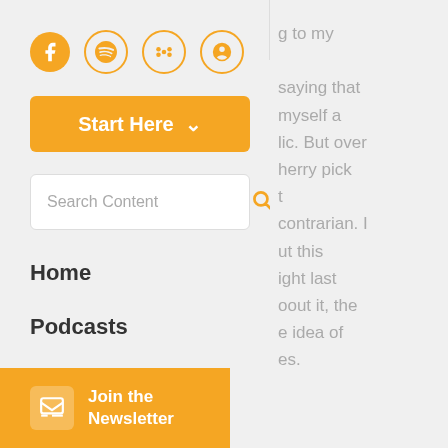[Figure (illustration): Row of four social media icons: Facebook (filled orange circle), Spotify (outlined orange circle), Google Podcasts (outlined orange circle with dots), Apple Podcasts (outlined orange circle with microphone symbol)]
Start Here ˅
Search Content
Home
Podcasts
All Content
Join the Newsletter
g to my saying that myself a lic. But over herry pick t contrarian. I ut this ight last oout it, the e idea of es.